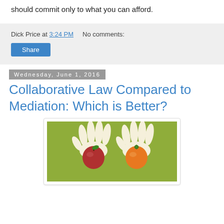should commit only to what you can afford.
Dick Price at 3:24 PM    No comments:
Share
Wednesday, June 1, 2016
Collaborative Law Compared to Mediation: Which is Better?
[Figure (illustration): Illustration of two hands holding an apple and an orange on a green background, representing comparison between two options.]